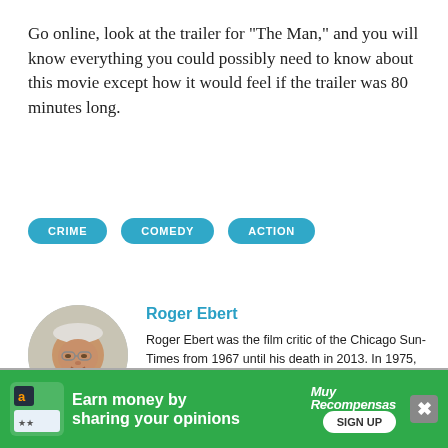Go online, look at the trailer for "The Man," and you will know everything you could possibly need to know about this movie except how it would feel if the trailer was 80 minutes long.
CRIME
COMEDY
ACTION
Roger Ebert
Roger Ebert was the film critic of the Chicago Sun-Times from 1967 until his death in 2013. In 1975, he won the Pulitzer Prize for distinguished criticism.
Earn money by sharing your opinions